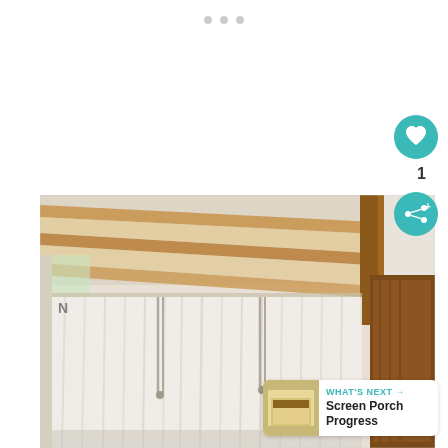[Figure (photo): Interior photo of a screen porch or sunroom showing white sheer curtains hanging from a wooden beam ceiling structure, with windows visible and wooden trim on the right side.]
WHAT'S NEXT → Screen Porch Progress